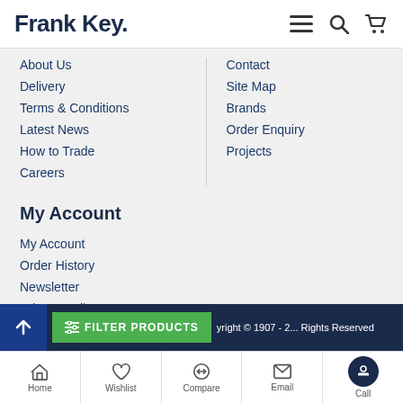Frank Key.
About Us
Delivery
Terms & Conditions
Latest News
How to Trade
Careers
Contact
Site Map
Brands
Order Enquiry
Projects
My Account
My Account
Order History
Newsletter
Privacy Policy
Copyright © 1907 - 2... All Rights Reserved